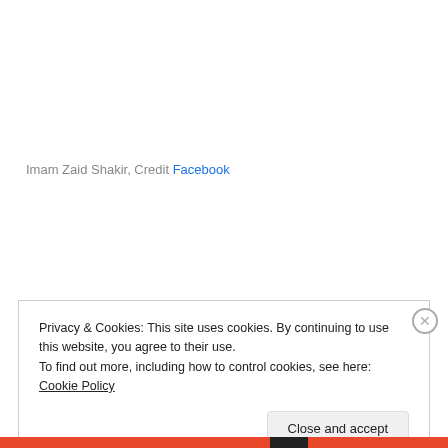Imam Zaid Shakir, Credit Facebook
Privacy & Cookies: This site uses cookies. By continuing to use this website, you agree to their use.
To find out more, including how to control cookies, see here: Cookie Policy